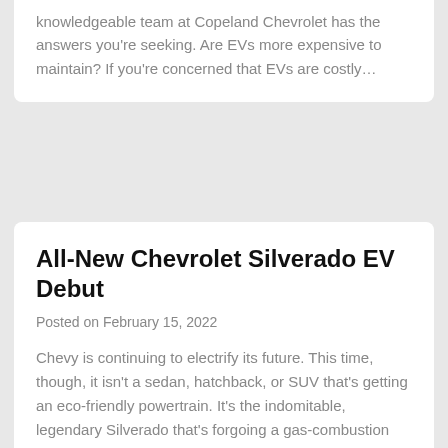knowledgeable team at Copeland Chevrolet has the answers you're seeking. Are EVs more expensive to maintain? If you're concerned that EVs are costly…
All-New Chevrolet Silverado EV Debut
Posted on February 15, 2022
Chevy is continuing to electrify its future. This time, though, it isn't a sedan, hatchback, or SUV that's getting an eco-friendly powertrain. It's the indomitable, legendary Silverado that's forgoing a gas-combustion engine to usher in a new way to conquer trails, heavy loads, demanding days on the job, and joyful getaways at the lake. You…